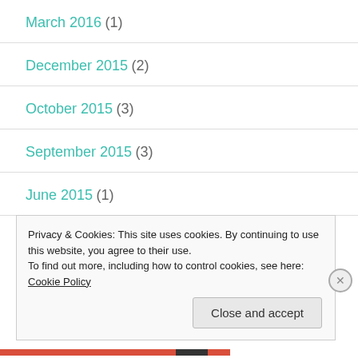March 2016 (1)
December 2015 (2)
October 2015 (3)
September 2015 (3)
June 2015 (1)
May 2015 (5)
Privacy & Cookies: This site uses cookies. By continuing to use this website, you agree to their use.
To find out more, including how to control cookies, see here: Cookie Policy
Close and accept